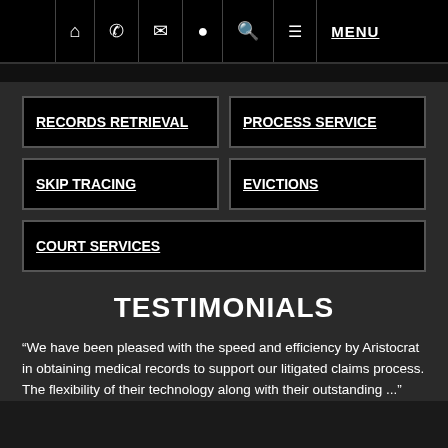Navigation bar with icons: home, phone, email, location, search, menu — MENU
RECORDS RETRIEVAL
PROCESS SERVICE
SKIP TRACING
EVICTIONS
COURT SERVICES
TESTIMONIALS
“We have been pleased with the speed and efficiency by Aristocrat in obtaining medical records to support our litigated claims process. The flexibility of their technology along with their outstanding ...”